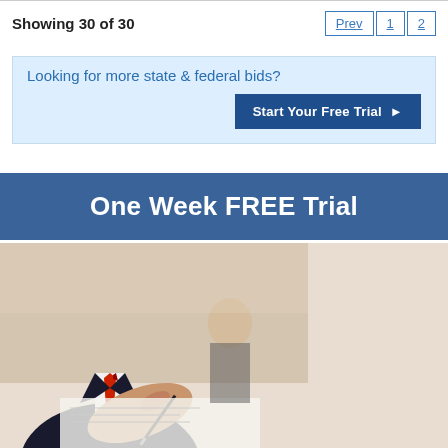Showing 30 of 30
Prev 1 2
Looking for more state & federal bids?
Start Your Free Trial ▶
One Week FREE Trial
[Figure (photo): Business professionals at a desk: close-up of a man in a dark suit with red tie signing documents with a pen; a second person in background out of focus; right side shows a plain beige/cream area]